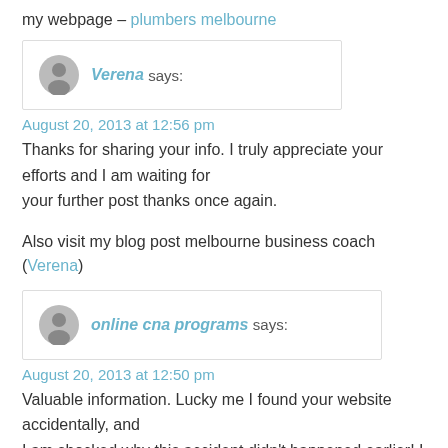my webpage – plumbers melbourne
Verena says:
August 20, 2013 at 12:56 pm
Thanks for sharing your info. I truly appreciate your efforts and I am waiting for your further post thanks once again.
Also visit my blog post melbourne business coach (Verena)
online cna programs says:
August 20, 2013 at 12:50 pm
Valuable information. Lucky me I found your website accidentally, and I am shocked why this accident didn't happened earlier! I